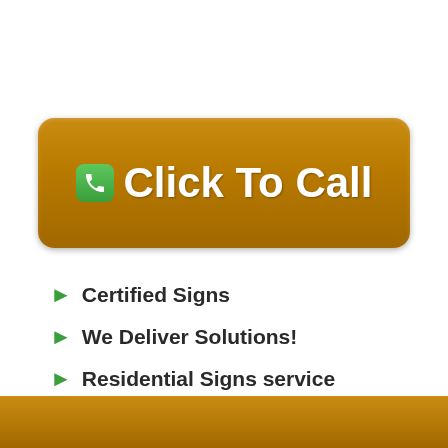[Figure (other): Orange rounded button with green phone icon and white bold text reading 'Click To Call']
Certified Signs
We Deliver Solutions!
Residential Signs service
Performed by Qualified Professionals